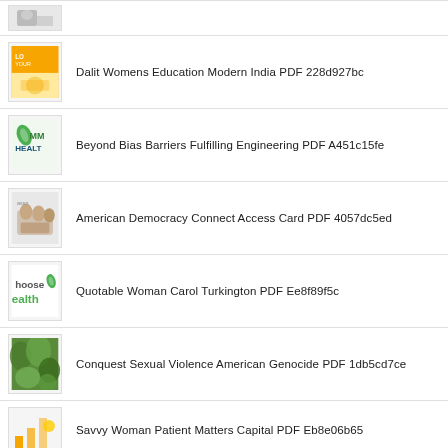(partial image, top of page)
Dalit Womens Education Modern India PDF 228d927bc
Beyond Bias Barriers Fulfilling Engineering PDF A451c15fe
American Democracy Connect Access Card PDF 4057dc5ed
Quotable Woman Carol Turkington PDF Ee8f89f5c
Conquest Sexual Violence American Genocide PDF 1db5cd7ce
Savvy Woman Patient Matters Capital PDF Eb8e06b65